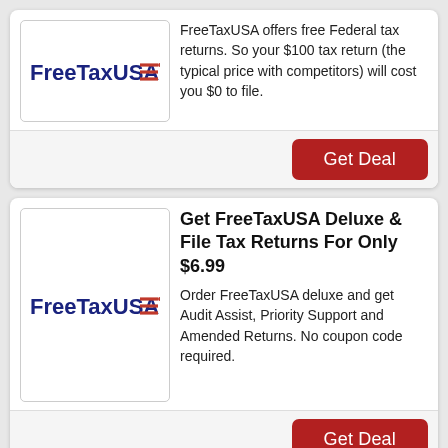[Figure (logo): FreeTaxUSA logo — dark blue bold text 'FreeTaxUSA' with red triple-line icon to the right]
FreeTaxUSA offers free Federal tax returns. So your $100 tax return (the typical price with competitors) will cost you $0 to file.
Get Deal
[Figure (logo): FreeTaxUSA logo — dark blue bold text 'FreeTaxUSA' with red triple-line icon to the right]
Get FreeTaxUSA Deluxe & File Tax Returns For Only $6.99
Order FreeTaxUSA deluxe and get Audit Assist, Priority Support and Amended Returns. No coupon code required.
Get Deal